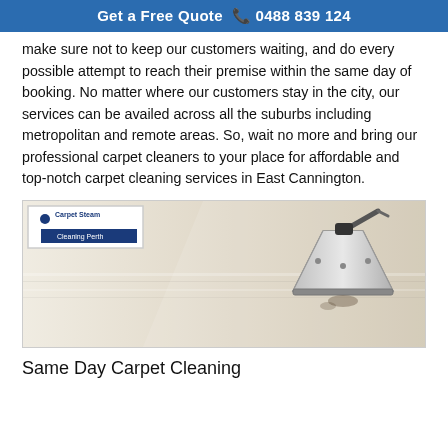Get a Free Quote 📞 0488 839 124
make sure not to keep our customers waiting, and do every possible attempt to reach their premise within the same day of booking. No matter where our customers stay in the city, our services can be availed across all the suburbs including metropolitan and remote areas. So, wait no more and bring our professional carpet cleaners to your place for affordable and top-notch carpet cleaning services in East Cannington.
[Figure (photo): A carpet steam cleaning machine head on a light beige/cream carpet, showing the triangular cleaning head attachment. Carpet Steam Cleaning Perth logo overlaid in top-left corner.]
Same Day Carpet Cleaning